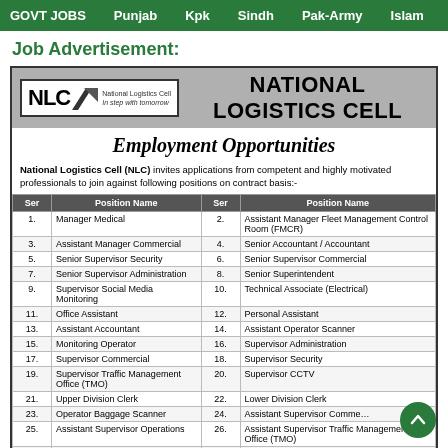GOVT JOBS   Punjab   Kpk   Sindh   Pak-Army   Islam
Job Advertisement:
[Figure (logo): National Logistics Cell (NLC) logo with arrow icon and tagline 'In step with tomorrow']
Employment Opportunities
National Logistics Cell (NLC) invites applications from competent and highly motivated professionals to join against following positions on contract basis:-
| Ser | Position Name | Ser | Position Name |
| --- | --- | --- | --- |
| 1. | Manager Medical | 2. | Assistant Manager Fleet Management Control Room (FMCR) |
| 3. | Assistant Manager Commercial | 4. | Senior Accountant / Accountant |
| 5. | Senior Supervisor Security | 6. | Senior Supervisor Commercial |
| 7. | Senior Supervisor Administration | 8. | Senior Superintendent |
| 9. | Supervisor Social Media Monitoring | 10. | Technical Associate (Electrical) |
| 11. | Office Assistant | 12. | Personal Assistant |
| 13. | Assistant Accountant | 14. | Assistant Operator Scanner |
| 15. | Monitoring Operator | 16. | Supervisor Administration |
| 17. | Supervisor Commercial | 18. | Supervisor Security |
| 19. | Supervisor Traffic Management Office (TMO) | 20. | Supervisor CCTV |
| 21. | Upper Division Clerk | 22. | Lower Division Clerk |
| 23. | Operator Baggage Scanner | 24. | Assistant Supervisor Commercial |
| 25. | Assistant Supervisor Operations | 26. | Assistant Supervisor Traffic Management Office (TMO) |
| 27. | Assistant Supervisor Fire Fighting | 28. | Assistant Supervisor CCTV |